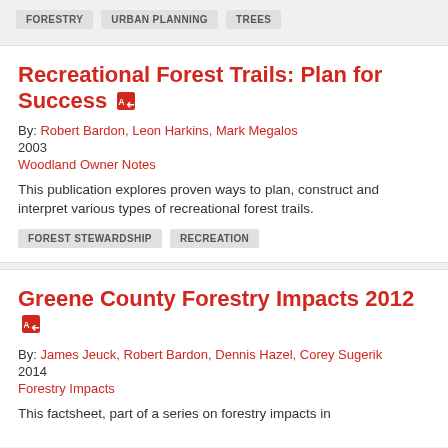FORESTRY
URBAN PLANNING
TREES
Recreational Forest Trails: Plan for Success
By: Robert Bardon, Leon Harkins, Mark Megalos
2003
Woodland Owner Notes
This publication explores proven ways to plan, construct and interpret various types of recreational forest trails.
FOREST STEWARDSHIP
RECREATION
Greene County Forestry Impacts 2012
By: James Jeuck, Robert Bardon, Dennis Hazel, Corey Sugerik
2014
Forestry Impacts
This factsheet, part of a series on forestry impacts in